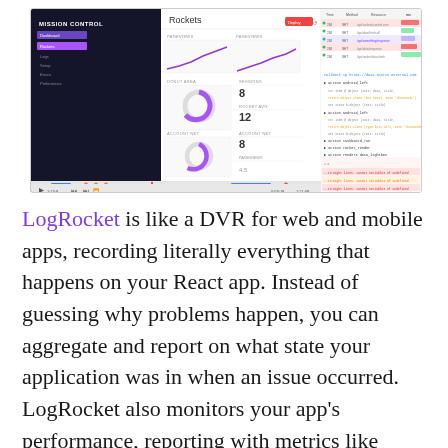[Figure (screenshot): Screenshot of LogRocket application showing a dashboard with Mission Control interface on the left (dark sidebar with Rockets section, line charts for performance metrics, donut charts for statistics) and a code/log viewer on the right with colored log entries and a video player bar at the bottom.]
LogRocket is like a DVR for web and mobile apps, recording literally everything that happens on your React app. Instead of guessing why problems happen, you can aggregate and report on what state your application was in when an issue occurred. LogRocket also monitors your app's performance, reporting with metrics like